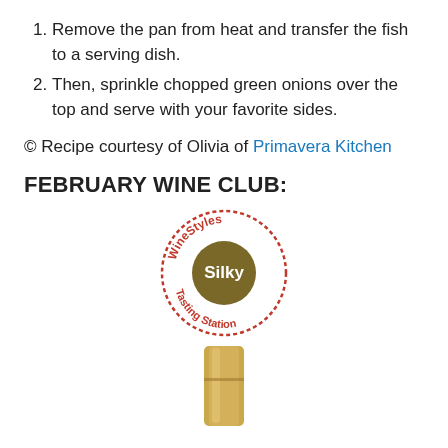Remove the pan from heat and transfer the fish to a serving dish.
Then, sprinkle chopped green onions over the top and serve with your favorite sides.
© Recipe courtesy of Olivia of Primavera Kitchen
FEBRUARY WINE CLUB:
[Figure (logo): WineStyles Tasting Station circular logo with 'Silky' label in olive/brown center circle, red dashed border text reading 'WineStyles' at top and 'Tasting Station' at bottom]
[Figure (photo): Top of a wine bottle with gold foil capsule, cropped at bottom of page]